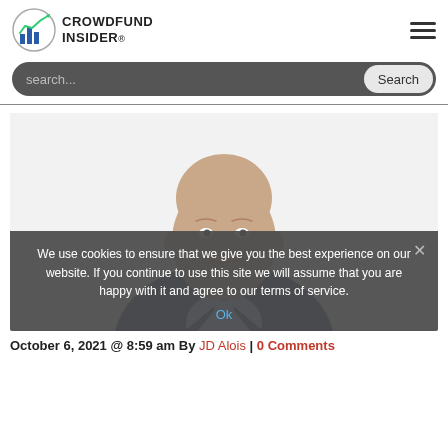CROWDFUND INSIDER
search...
[Figure (photo): Professional headshot of a bald man in a dark suit jacket and light blue shirt, smiling with arms crossed, against a white background.]
We use cookies to ensure that we give you the best experience on our website. If you continue to use this site we will assume that you are happy with it and agree to our terms of service.
Ok
October 6, 2021 @ 8:59 am By JD Alois | 0 Comments